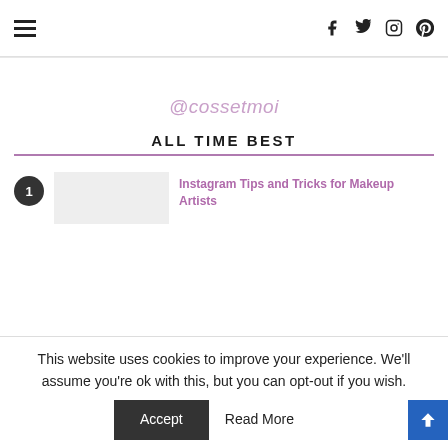≡ | f twitter instagram pinterest
@cossetmoi
ALL TIME BEST
1. Instagram Tips and Tricks for Makeup Artists
This website uses cookies to improve your experience. We'll assume you're ok with this, but you can opt-out if you wish.
Accept | Read More